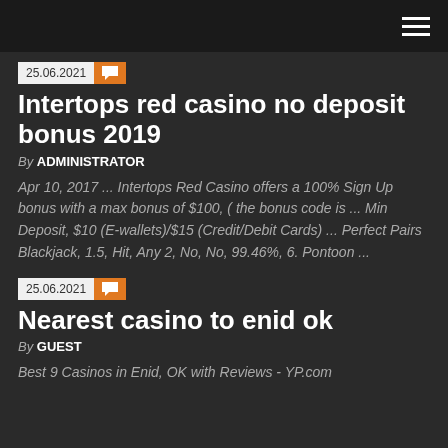Navigation header with hamburger menu
25.06.2021
Intertops red casino no deposit bonus 2019
By ADMINISTRATOR
Apr 10, 2017 ... Intertops Red Casino offers a 100% Sign Up bonus with a max bonus of $100, ( the bonus code is ... Min Deposit, $10 (E-wallets)/$15 (Credit/Debit Cards) ... Perfect Pairs Blackjack, 1.5, Hit, Any 2, No, No, 99.46%, 6. Pontoon ...
25.06.2021
Nearest casino to enid ok
By GUEST
Best 9 Casinos in Enid, OK with Reviews - YP.com